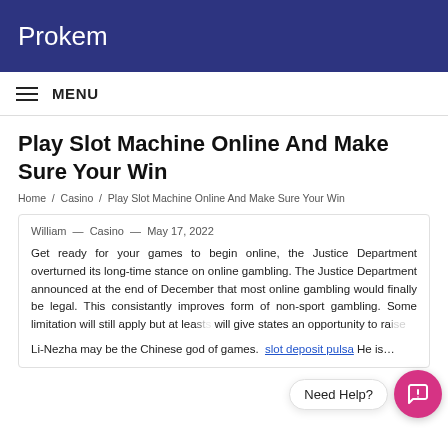Prokem
MENU
Play Slot Machine Online And Make Sure Your Win
Home / Casino / Play Slot Machine Online And Make Sure Your Win
William — Casino — May 17, 2022
Get ready for your games to begin online, the Justice Department overturned its long-time stance on online gambling. The Justice Department announced at the end of December that most online gambling would finally be legal. This consistantly improves form of non-sport gambling. Some limitation will still apply but at least it will give states an opportunity to ra…
Li-Nezha may be the Chinese god of games. slot deposit pulsa He is…